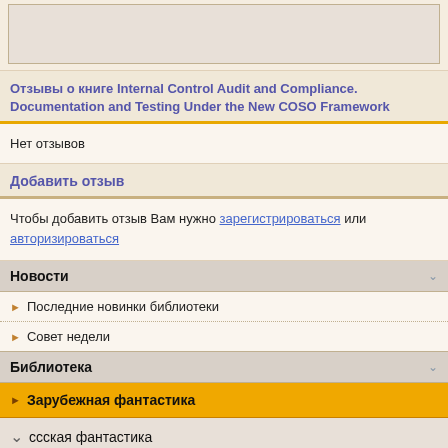[Figure (other): Top image placeholder box with light gray background and border]
Отзывы о книге Internal Control Audit and Compliance. Documentation and Testing Under the New COSO Framework
Нет отзывов
Добавить отзыв
Чтобы добавить отзыв Вам нужно зарегистрироваться или авторизироваться
Новости
Последние новинки библиотеки
Совет недели
Библиотека
Зарубежная фантастика
ссская фантастика